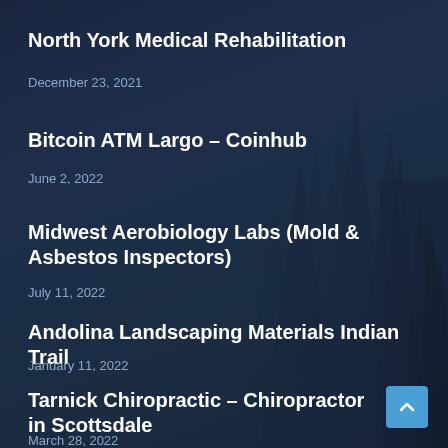North York Medical Rehabilitation
December 23, 2021
Bitcoin ATM Largo – Coinhub
June 2, 2022
Midwest Aerobiology Labs (Mold & Asbestos Inspectors)
July 11, 2022
Andolina Landscaping Materials Indian Trail
January 11, 2022
Tarnick Chiropractic – Chiropractor in Scottsdale
March 28, 2022